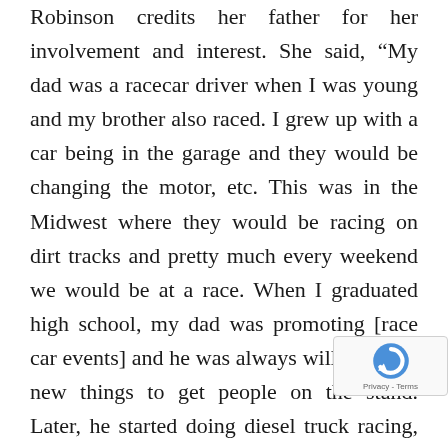Robinson credits her father for her involvement and interest. She said, “My dad was a racecar driver when I was young and my brother also raced. I grew up with a car being in the garage and they would be changing the motor, etc. This was in the Midwest where they would be racing on dirt tracks and pretty much every weekend we would be at a race. When I graduated high school, my dad was promoting [race car events] and he was always willing to try new things to get people on the stand. Later, he started doing diesel truck racing, which was how I started racing a big truck. At 18, I moved from Iowa to Pennsylvania because of an oil company’s sponsorship in which they hired me to drive for them and from there I got to the point in my career where there wasn’t really anywhere else for me to go in the truck racing w... because it was a very small world. That is whe... started NASCAR and I had the opportunity to move to
[Figure (other): reCAPTCHA badge with logo and Privacy - Terms text]